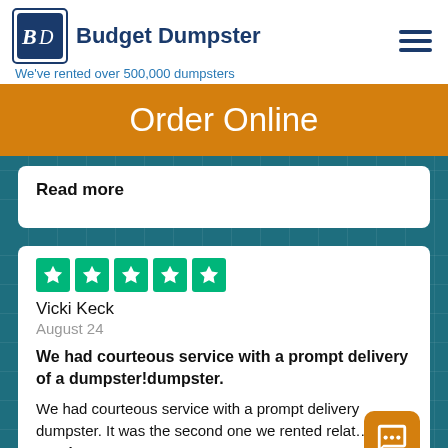[Figure (logo): Budget Dumpster logo with BD icon and tagline 'We've rented over 500,000 dumpsters']
Order Online
Read more
[Figure (other): Trustpilot 5-star rating widget with 5 green star boxes]
Vicki Keck
August 24
We had courteous service with a prompt delivery of a dumpster!dumpster.
We had courteous service with a prompt delivery dumpster. It was the second one we rented relat…
Read more